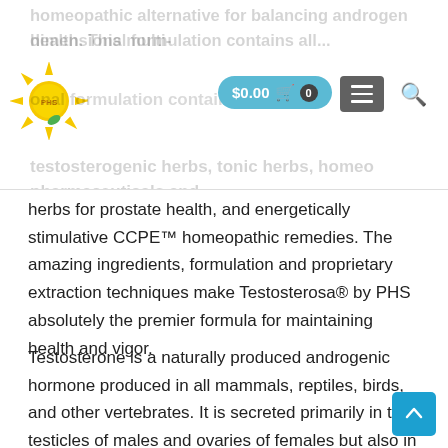homeopathic alternative for balancing androgen health. This multi-dimensional formulation contains all... testosterogenic herbs, tonic herbs, homeo pharmaceuticals and
herbs for prostate health, and energetically stimulative CCPE™ homeopathic remedies. The amazing ingredients, formulation and proprietary extraction techniques make Testosterosa® by PHS absolutely the premier formula for maintaining health and vigor.
Testosterone is a naturally produced androgenic hormone produced in all mammals, reptiles, birds, and other vertebrates. It is secreted primarily in the testicles of males and ovaries of females but also in small amounts by the adrenal gland. In males it increases sexual characteristics such as muscle, bone mass and body hair along with helping in the maturation of sex glands such as the penis, testes and pros... It prevents osteoporosis and is essential for health and well being. Males produce 7-8 times more than females...